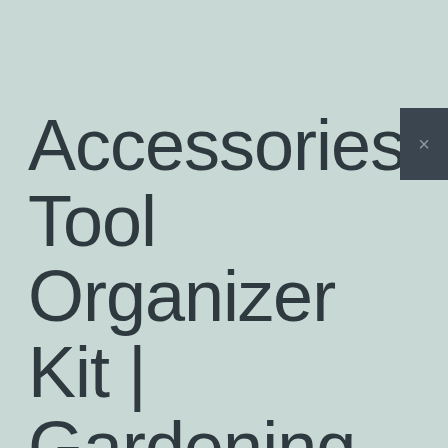Accessories Tool Organizer Kit | Gardening Gifts | Gardeners G...
[Figure (other): Close/dismiss button (dark rectangle with X icon) in upper right corner]